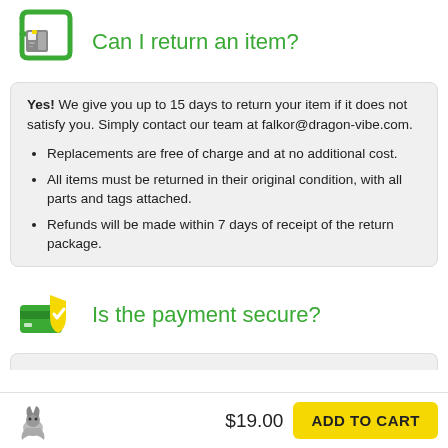Can I return an item?
Yes! We give you up to 15 days to return your item if it does not satisfy you. Simply contact our team at falkor@dragon-vibe.com.
Replacements are free of charge and at no additional cost.
All items must be returned in their original condition, with all parts and tags attached.
Refunds will be made within 7 days of receipt of the return package.
Is the payment secure?
$19.00  ADD TO CART